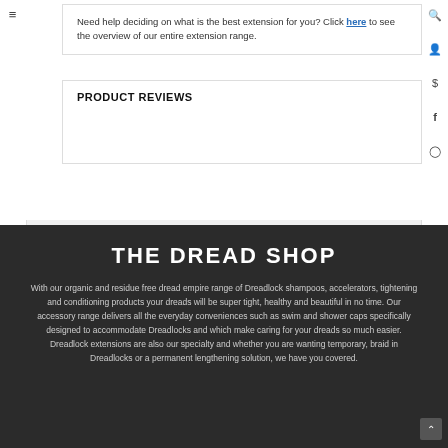Need help deciding on what is the best extension for you? Click here to see the overview of our entire extension range.
PRODUCT REVIEWS
THE DREAD SHOP
With our organic and residue free dread empire range of Dreadlock shampoos, accelerators, tightening and conditioning products your dreads will be super tight, healthy and beautiful in no time. Our accessory range delivers all the everyday conveniences such as swim and shower caps specifically designed to accommodate Dreadlocks and which make caring for your dreads so much easier. Dreadlock extensions are also our specialty and whether you are wanting temporary, braid in Dreadlocks or a permanent lengthening solution, we have you covered.